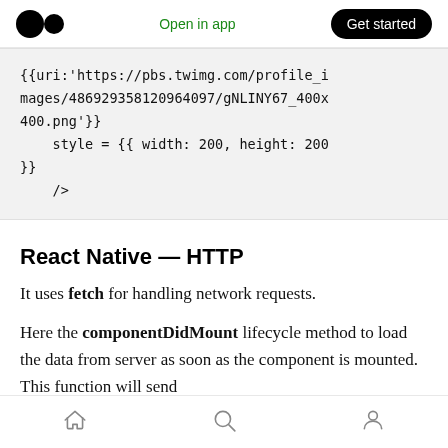Open in app   Get started
{{uri:'https://pbs.twimg.com/profile_images/486929358120964097/gNLINY67_400x400.png'}}
    style = {{ width: 200, height: 200
}}
    />
React Native — HTTP
It uses fetch for handling network requests.
Here the componentDidMount lifecycle method to load the data from server as soon as the component is mounted. This function will send
home  search  profile